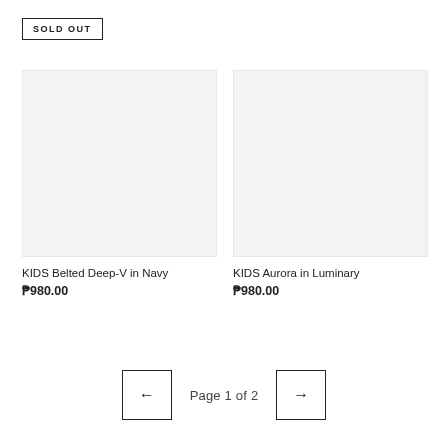SOLD OUT
[Figure (photo): Product image placeholder for KIDS Belted Deep-V in Navy (light gray background)]
KIDS Belted Deep-V in Navy
₱980.00
[Figure (photo): Product image placeholder for KIDS Aurora in Luminary (light gray background)]
KIDS Aurora in Luminary
₱980.00
Page 1 of 2